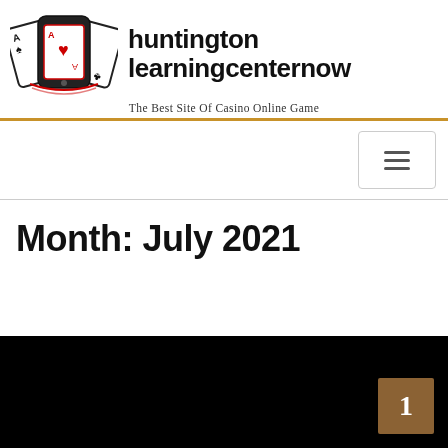[Figure (logo): Casino card game logo with playing cards and smartphone, three Ace cards visible]
huntington learningcenternow
The Best Site Of Casino Online Game
[Figure (other): Navigation hamburger menu button]
Month: July 2021
[Figure (photo): Dark/black article thumbnail image with a brown numbered badge showing 1]